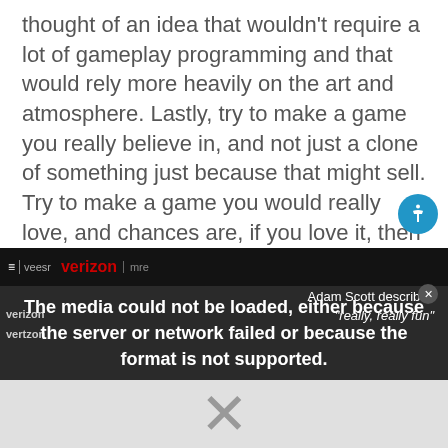thought of an idea that wouldn't require a lot of gameplay programming and that would rely more heavily on the art and atmosphere. Lastly, try to make a game you really believe in, and not just a clone of something just because that might sell. Try to make a game you would really love, and chances are, if you love it, then other people will love it too."
[Figure (screenshot): Video player showing a media error overlay: 'The media could not be loaded, either because the server or network failed or because the format is not supported.' A large X dismiss button is visible. The background shows a Verizon-branded video frame with text 'Adam Scott describes "really, really fun"'. A grey area below shows the player controls region.]